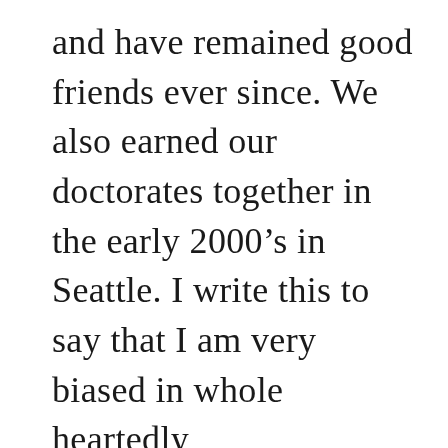and have remained good friends ever since. We also earned our doctorates together in the early 2000's in Seattle. I write this to say that I am very biased in whole heartedly recommending this book because the author is one of the men I most admire and respect on planet Earth.